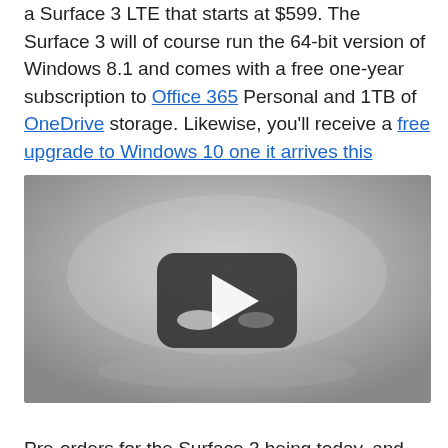a Surface 3 LTE that starts at $599. The Surface 3 will of course run the 64-bit version of Windows 8.1 and comes with a free one-year subscription to Office 365 Personal and 1TB of OneDrive storage. Likewise, you'll receive a free upgrade to Windows 10 one it arrives this summer.
[Figure (screenshot): A video player thumbnail showing a YouTube-style play button (dark rounded rectangle with white triangle) on a light gray gradient background, rendered in grayscale.]
Pre-orders for the Surface 3 being today, and the tablet will